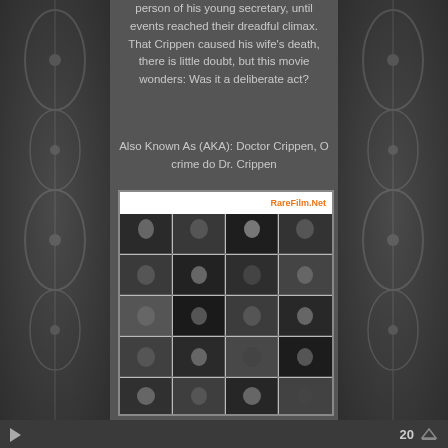person of his young secretary, until events reached their dreadful climax. That Crippen caused his wife's death, there is little doubt, but this movie wonders: Was it a deliberate act?
Also Known As (AKA): Doctor Crippen, O crime do Dr. Crippen
[Figure (screenshot): Screenshot collage from RareFilm.Net showing a grid of black-and-white movie stills from Doctor Crippen film, with the RareFilm.Net logo in orange in the top right corner.]
20